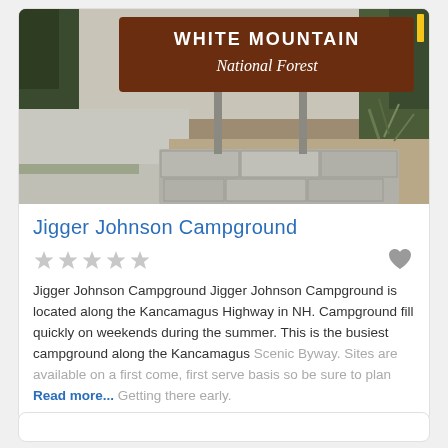[Figure (photo): Photo of White Mountain National Forest entrance sign — a large brown wooden sign reading 'WHITE MOUNTAIN National Forest' mounted on metal poles above a stone block base, surrounded by trees and a driveway.]
Jigger Johnson Campground
[Figure (other): Five grey star rating icons (empty/unrated) with a grey heart icon on the right]
Jigger Johnson Campground Jigger Johnson Campground is located along the Kancamagus Highway in NH. Campground fill quickly on weekends during the summer. This is the busiest campground along the Kancamagus Scenic Byway. Sites are available on a first come, first serve basis so be sure to plan Read more... Getting there early.